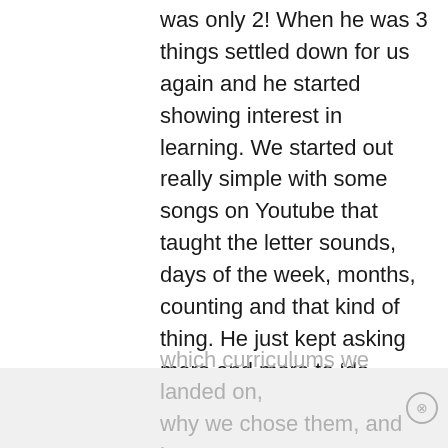was only 2! When he was 3 things settled down for us again and he started showing interest in learning. We started out really simple with some songs on Youtube that taught the letter sounds, days of the week, months, counting and that kind of thing. He just kept asking more and more to ‘do school’ so I started doing some serious research about curriculums so I could keep up his desire to learn. I’m going to publish a (really long) blog post this week about
which curriculums we landed on, why we chose them, and how